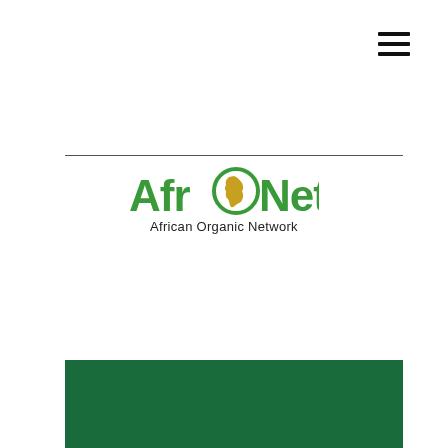[Figure (logo): Hamburger/menu icon — three horizontal black bars stacked vertically]
[Figure (logo): AfroNet African Organic Network logo — green stylized text 'AfroNet' with a golden Africa continent map icon replacing the letter O, and subtitle 'African Organic Network' in dark text below]
[Figure (other): Dark green rectangular banner at the bottom of the page]